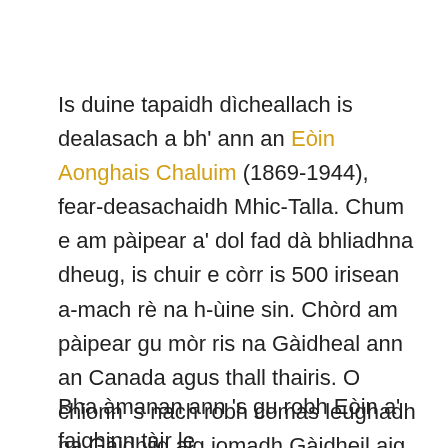Is duine tapaidh dìcheallach is dealasach a bh' ann an Eòin Aonghais Chaluim (1869-1944), fear-deasachaidh Mhic-Talla. Chum e am pàipear a' dol fad dà bhliadhna dheug, is chuir e còrr is 500 irisean a-mach rè na h-ùine sin. Chòrd am pàipear gu mòr ris na Gàidheal ann an Canada agus thall thairis. O chionn 's nach robh comas leughadh na Gàidhlig aig iomadh Gàidheil aig an àm ud, chan ainneamh a chruinneachadh sluagh gus èisteachd ri aon duine a' leughadh a-mach bhon a' phàipear.
Bha àmanan ann 's gu robh Eòin a' faighinn tàir le